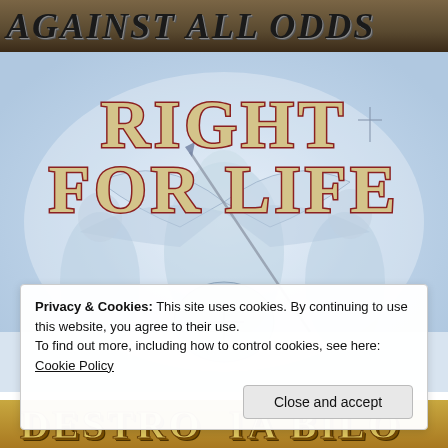AGAINST ALL ODDS
[Figure (illustration): Stylized battle scene illustration with angel/warrior figure wielding a spear, with other figures, rendered in pale blue tones. Overlaid with large decorative text 'RIGHT FOR LIFE' in gold/cream letters with dark red shadow.]
Privacy & Cookies: This site uses cookies. By continuing to use this website, you agree to their use.
To find out more, including how to control cookies, see here: Cookie Policy
Close and accept
DESTRO...